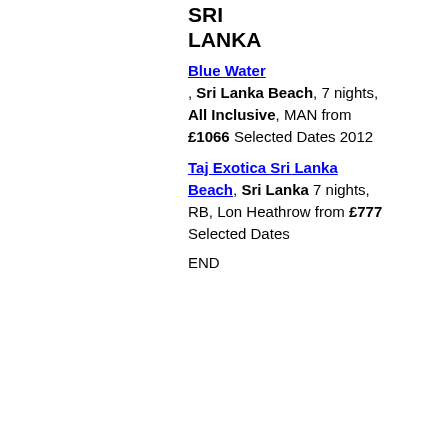SRI LANKA
Blue Water, Sri Lanka Beach, 7 nights, All Inclusive, MAN from £1066 Selected Dates 2012
Taj Exotica Sri Lanka Beach, Sri Lanka 7 nights, RB, Lon Heathrow from £777 Selected Dates
END